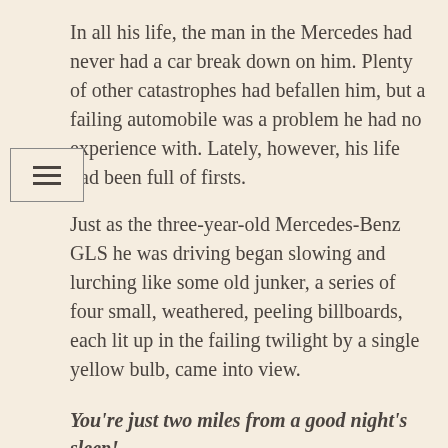In all his life, the man in the Mercedes had never had a car break down on him. Plenty of other catastrophes had befallen him, but a failing automobile was a problem he had no experience with. Lately, however, his life had been full of firsts.
Just as the three-year-old Mercedes-Benz GLS he was driving began slowing and lurching like some old junker, a series of four small, weathered, peeling billboards, each lit up in the failing twilight by a single yellow bulb, came into view.
You're just two miles from a good night's sleep!
Stay with us at Mistletoe Manor!@Holly
Best dinner in town is at Mistletoe Manor!
Take your next right to Mistletoe Manor. Closed Mondays.